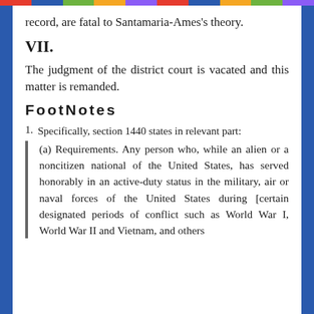record, are fatal to Santamaria-Ames's theory.
VII.
The judgment of the district court is vacated and this matter is remanded.
FootNotes
1. Specifically, section 1440 states in relevant part: (a) Requirements. Any person who, while an alien or a noncitizen national of the United States, has served honorably in an active-duty status in the military, air or naval forces of the United States during [certain designated periods of conflict such as World War I, World War II and Vietnam, and others